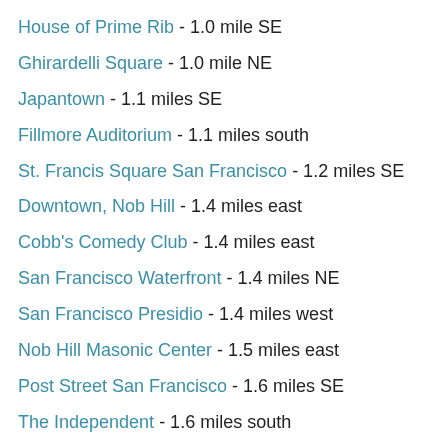House of Prime Rib - 1.0 mile SE
Ghirardelli Square - 1.0 mile NE
Japantown - 1.1 miles SE
Fillmore Auditorium - 1.1 miles south
St. Francis Square San Francisco - 1.2 miles SE
Downtown, Nob Hill - 1.4 miles east
Cobb's Comedy Club - 1.4 miles east
San Francisco Waterfront - 1.4 miles NE
San Francisco Presidio - 1.4 miles west
Nob Hill Masonic Center - 1.5 miles east
Post Street San Francisco - 1.6 miles SE
The Independent - 1.6 miles south
Fairmont Hotel - 1.7 miles east